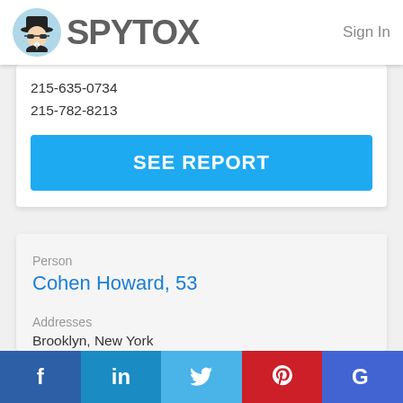SPYTOX   Sign In
215-635-0734
215-782-8213
SEE REPORT
Person
Cohen Howard, 53
Addresses
Brooklyn, New York
f  in  [twitter]  p  G